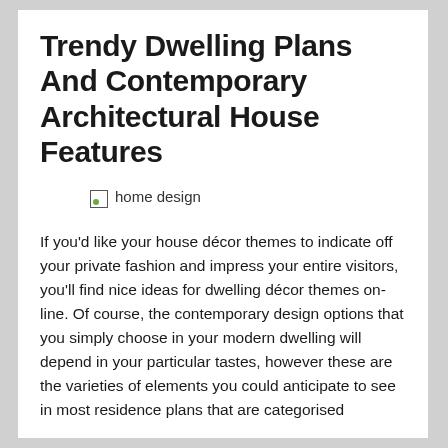Trendy Dwelling Plans And Contemporary Architectural House Features
[Figure (illustration): Broken image placeholder with alt text 'home design']
If you'd like your house décor themes to indicate off your private fashion and impress your entire visitors, you'll find nice ideas for dwelling décor themes on-line. Of course, the contemporary design options that you simply choose in your modern dwelling will depend in your particular tastes, however these are the varieties of elements you could anticipate to see in most residence plans that are categorised